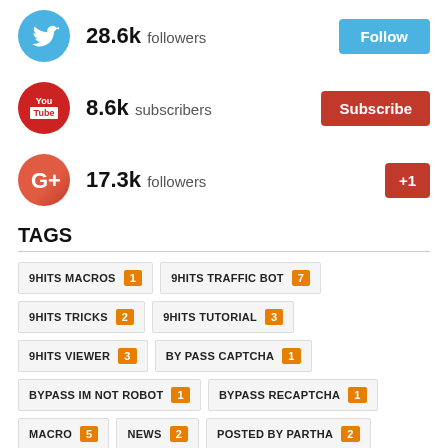28.6k followers
8.6k subscribers
17.3k followers
TAGS
9HITS MACROS (1)
9HITS TRAFFIC BOT (7)
9HITS TRICKS (2)
9HITS TUTORIAL (3)
9HITS VIEWER (3)
BY PASS CAPTCHA (1)
BYPASS IM NOT ROBOT (1)
BYPASS RECAPTCHA (1)
MACRO (5)
NEWS (2)
POSTED BY PARTHA (2)
YOUTUBE ORGANIC TRAFFIC (1)